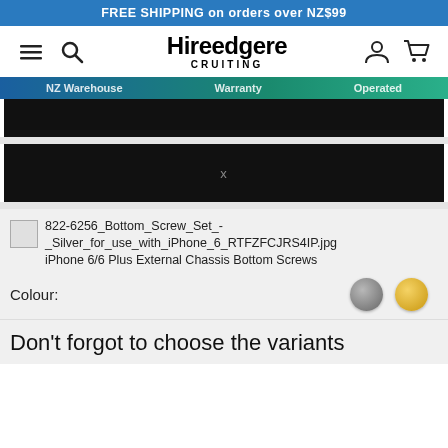FREE SHIPPING on orders over NZ$99
[Figure (screenshot): Hireedgere Cruiting website navigation bar with hamburger menu, search, logo, user icon and cart icon]
NZ Warehouse   Warranty   Operated
[Figure (screenshot): Dark banner/bar area on product page]
[Figure (screenshot): Dark bar with x close button]
822-6256_Bottom_Screw_Set_-_Silver_for_use_with_iPhone_6_RTFZFCJRS4IP.jpg iPhone 6/6 Plus External Chassis Bottom Screws
Colour:
Don't forgot to choose the variants